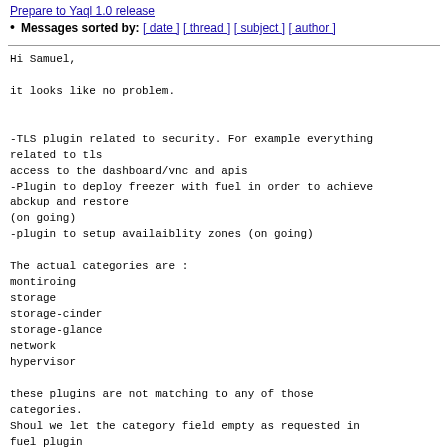Prepare to Yaql 1.0 release
Messages sorted by: [ date ] [ thread ] [ subject ] [ author ]
Hi Samuel,

it looks like no problem.


-TLS plugin related to security. For example everything related to tls
access to the dashboard/vnc and apis
-Plugin to deploy freezer with fuel in order to achieve abckup and restore
(on going)
-plugin to setup availaiblity zones (on going)

The actual categories are :
montiroing
storage
storage-cinder
storage-glance
network
hypervisor

these plugins are not matching to any of those categories.
Shoul we let the category field empty as requested in fuel plugin